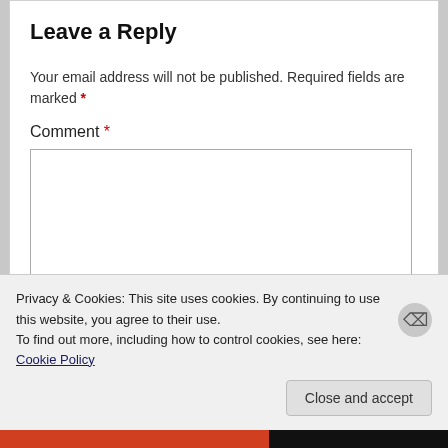Leave a Reply
Your email address will not be published. Required fields are marked *
Comment *
[Figure (screenshot): Empty comment text area input box with border]
Privacy & Cookies: This site uses cookies. By continuing to use this website, you agree to their use.
To find out more, including how to control cookies, see here: Cookie Policy
Close and accept